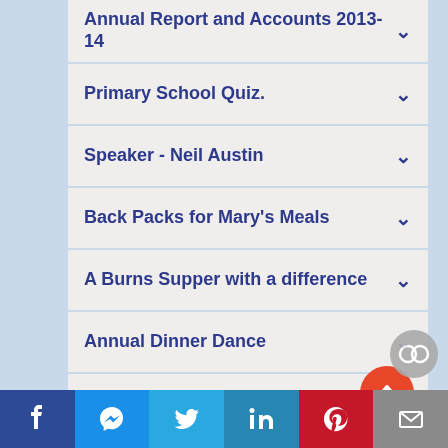Annual Report and Accounts 2013-14
Primary School Quiz.
Speaker - Neil Austin
Back Packs for Mary's Meals
A Burns Supper with a difference
Annual Dinner Dance
District Governors visit
f  [messenger]  [twitter]  in  [pinterest]  [mail]